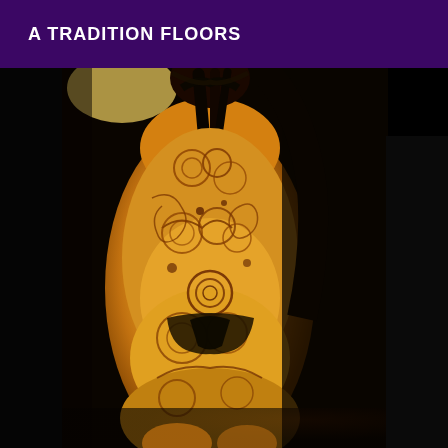A TRADITION FLOORS
[Figure (photo): A person with elaborate henna or tattoo body art covering their torso, photographed in warm yellow-orange lighting against a dark background. The body art consists of intricate floral and swirling patterns. The person is wearing minimal dark clothing. The image has a dramatic, low-light aesthetic.]